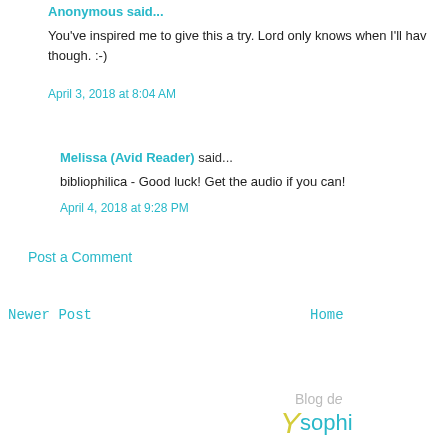Anonymous said...
You've inspired me to give this a try. Lord only knows when I'll hav though. :-)
April 3, 2018 at 8:04 AM
Melissa (Avid Reader) said...
bibliophilica - Good luck! Get the audio if you can!
April 4, 2018 at 9:28 PM
Post a Comment
Newer Post
Home
Blog de
sophi